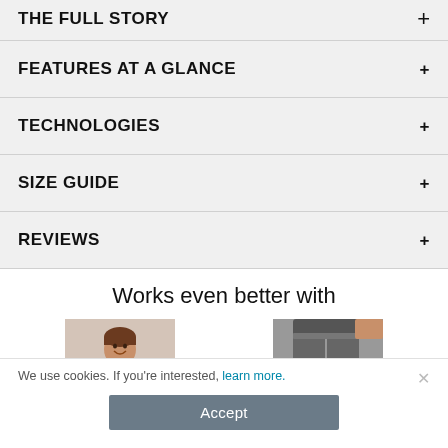THE FULL STORY
FEATURES AT A GLANCE
TECHNOLOGIES
SIZE GUIDE
REVIEWS
Works even better with
[Figure (photo): Woman wearing orange top, smiling]
[Figure (photo): Close-up of gray athletic pants with a teal/blue accent element]
We use cookies. If you're interested, learn more.
Accept